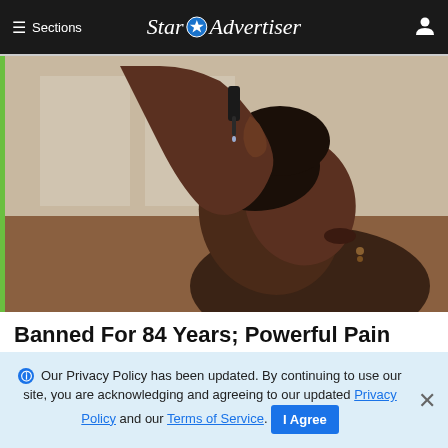≡ Sections   Star Advertiser
[Figure (photo): A woman tilting her head back and using a dropper to place liquid drops into her mouth, presumably CBD oil or similar substance. The background appears to be an indoor setting with windows.]
Banned For 84 Years; Powerful Pain Reliever Legalized In Virginia
ℹ Our Privacy Policy has been updated. By continuing to use our site, you are acknowledging and agreeing to our updated Privacy Policy and our Terms of Service. I Agree